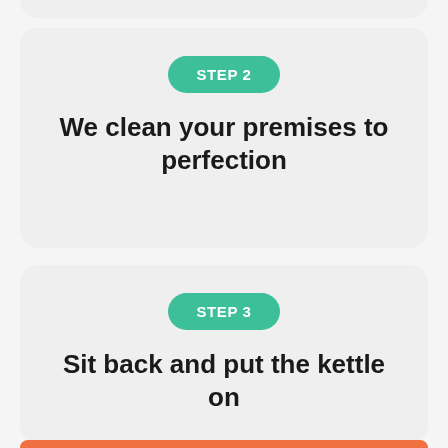STEP 2
We clean your premises to perfection
STEP 3
Sit back and put the kettle on